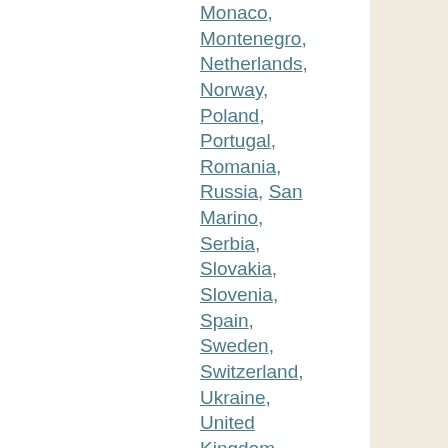Monaco, Montenegro, Netherlands, Norway, Poland, Portugal, Romania, Russia, San Marino, Serbia, Slovakia, Slovenia, Spain, Sweden, Switzerland, Ukraine, United Kingdom, Belize, Costa Rica, El Salvador, Guatemala